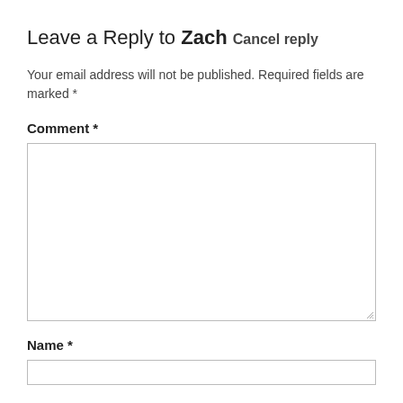Leave a Reply to Zach Cancel reply
Your email address will not be published. Required fields are marked *
Comment *
[Figure (other): Large empty comment textarea input box with resize handle]
Name *
[Figure (other): Single-line name text input box]